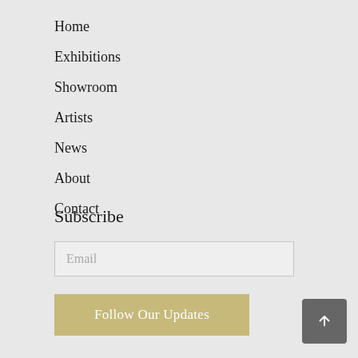Home
Exhibitions
Showroom
Artists
News
About
Contact
Subscribe
Email
Follow Our Updates